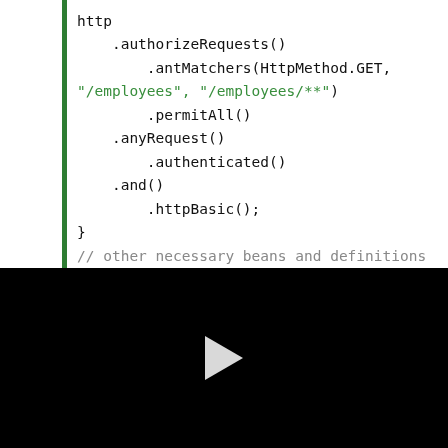http
    .authorizeRequests()
        .antMatchers(HttpMethod.GET,
"/employees", "/employees/**")
        .permitAll()
    .anyRequest()
        .authenticated()
    .and()
        .httpBasic();
}
// other necessary beans and definitions
}
[Figure (other): Black video player area with a white play button triangle in the center]